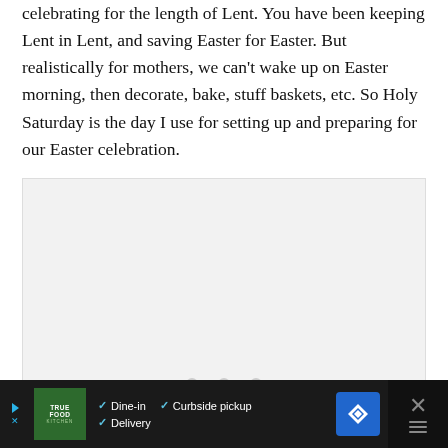celebrating for the length of Lent. You have been keeping Lent in Lent, and saving Easter for Easter. But realistically for mothers, we can't wake up on Easter morning, then decorate, bake, stuff baskets, etc. So Holy Saturday is the day I use for setting up and preparing for our Easter celebration.
[Figure (photo): Image placeholder with light gray background and three dot pagination indicators]
True Food Kitchen advertisement — Dine-in, Curbside pickup, Delivery